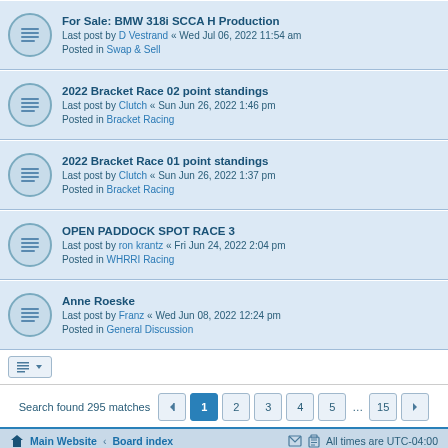For Sale: BMW 318i SCCA H Production
Last post by D Vestrand « Wed Jul 06, 2022 11:54 am
Posted in Swap & Sell
2022 Bracket Race 02 point standings
Last post by Clutch « Sun Jun 26, 2022 1:46 pm
Posted in Bracket Racing
2022 Bracket Race 01 point standings
Last post by Clutch « Sun Jun 26, 2022 1:37 pm
Posted in Bracket Racing
OPEN PADDOCK SPOT RACE 3
Last post by ron krantz « Fri Jun 24, 2022 2:04 pm
Posted in WHRRI Racing
Anne Roeske
Last post by Franz « Wed Jun 08, 2022 12:24 pm
Posted in General Discussion
Search found 295 matches  1 2 3 4 5 … 15
Main Website · Board index   All times are UTC-04:00
Powered by phpBB® Forum Software © phpBB Limited
Privacy | Terms